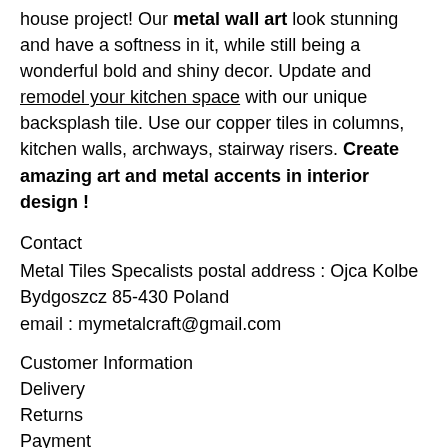house project! Our metal wall art look stunning and have a softness in it, while still being a wonderful bold and shiny decor. Update and remodel your kitchen space with our unique backsplash tile. Use our copper tiles in columns, kitchen walls, archways, stairway risers. Create amazing art and metal accents in interior design !
Contact
Metal Tiles Specalists postal address : Ojca Kolbe Bydgoszcz 85-430 Poland
email : mymetalcraft@gmail.com
Customer Information
Delivery
Returns
Payment